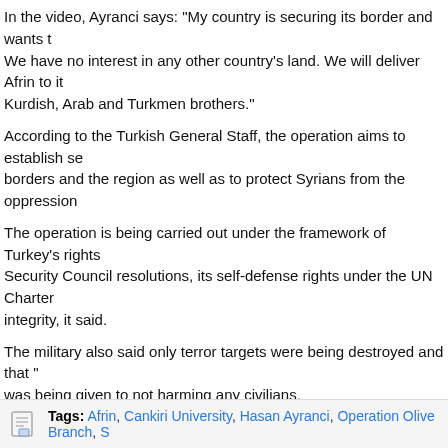In the video, Ayranci says: "My country is securing its border and wants to... We have no interest in any other country's land. We will deliver Afrin to its Kurdish, Arab and Turkmen brothers."
According to the Turkish General Staff, the operation aims to establish security in the borders and the region as well as to protect Syrians from the oppression...
The operation is being carried out under the framework of Turkey's rights... Security Council resolutions, its self-defense rights under the UN Charter... integrity, it said.
The military also said only terror targets were being destroyed and that "utmost care" was being given to not harming any civilians.
Afrin has been a major hideout for the PYD/PKK since July 2012, when the regime left the city to the terror group without putting up a fight.
Link to the video: https://www.youtube.com/watch?v=7Ycc7c1yVVQ
Tags: Afrin, Cankiri University, Hasan Ayranci, Operation Olive Branch, S...